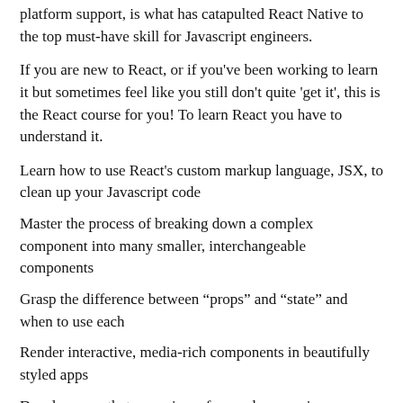platform support, is what has catapulted React Native to the top must-have skill for Javascript engineers.
If you are new to React, or if you've been working to learn it but sometimes feel like you still don't quite 'get it', this is the React course for you! To learn React you have to understand it.
Learn how to use React's custom markup language, JSX, to clean up your Javascript code
Master the process of breaking down a complex component into many smaller, interchangeable components
Grasp the difference between “props” and “state” and when to use each
Render interactive, media-rich components in beautifully styled apps
Develop apps that are unique, fun, and responsive